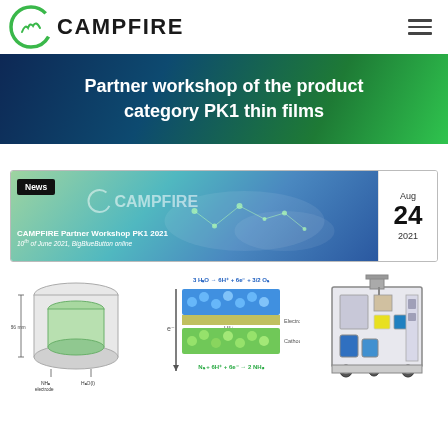[Figure (logo): CAMPFIRE project logo — green circular C with mountain/flame motif, followed by bold CAMPFIRE text]
Partner workshop of the product category PK1 thin films
[Figure (screenshot): CAMPFIRE news card thumbnail showing the CAMPFIRE Partner Workshop PK1 2021, dated 10th of June 2021, BigBlueButton online, with date Aug 24 2021]
[Figure (engineering-diagram): Three scientific diagrams side by side: left — schematic cross-section of an NH3 electrode and water/H2O components; center — electrochemical reaction diagram showing 3H2O -> 6H+ + 6e- + 3/2 O2 (anode) and N2 + 6H+ + 6e- -> 2NH3 (cathode) with electrolyte layer; right — photograph/illustration of a lab electrochemical testing apparatus on wheels]